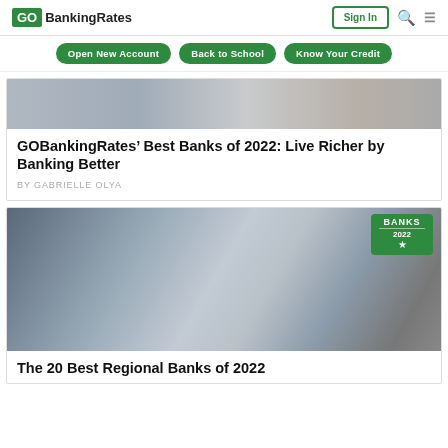GOBankingRates | Sign In
Open New Account
Back to School
Know Your Credit
[Figure (photo): Partial image of people at the top of an article card about best banks 2022]
GOBankingRates’ Best Banks of 2022: Live Richer by Banking Better
BY GABRIELLE OLYA
[Figure (photo): Photo of a bank teller / banker consulting with a client at a bank counter, with a green BANKS 2022 badge in the upper right corner]
The 20 Best Regional Banks of 2022